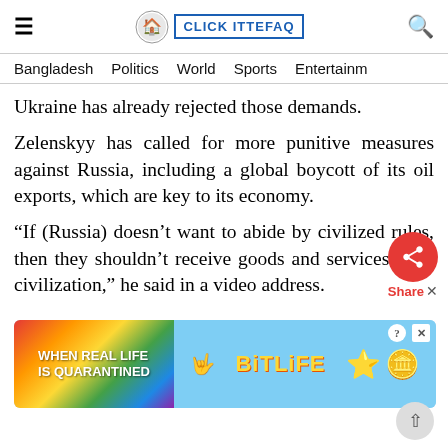Click Ittefaq — Bangladesh | Politics | World | Sports | Entertainment
Ukraine has already rejected those demands.
Zelenskyy has called for more punitive measures against Russia, including a global boycott of its oil exports, which are key to its economy.
“If (Russia) doesn’t want to abide by civilized rules, then they shouldn’t receive goods and services from civilization,” he said in a video address.
[Figure (screenshot): BitLife advertisement banner with rainbow gradient background on left reading 'WHEN REAL LIFE IS QUARANTINED' and blue background on right with BitLife logo, star and coin emoji characters, and close/question buttons.]